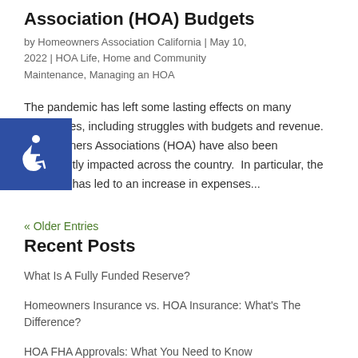Association (HOA) Budgets
by Homeowners Association California | May 10, 2022 | HOA Life, Home and Community Maintenance, Managing an HOA
The pandemic has left some lasting effects on many businesses, including struggles with budgets and revenue. Homeowners Associations (HOA) have also been significantly impacted across the country.  In particular, the outbreak has led to an increase in expenses...
« Older Entries
Recent Posts
What Is A Fully Funded Reserve?
Homeowners Insurance vs. HOA Insurance: What's The Difference?
HOA FHA Approvals: What You Need to Know